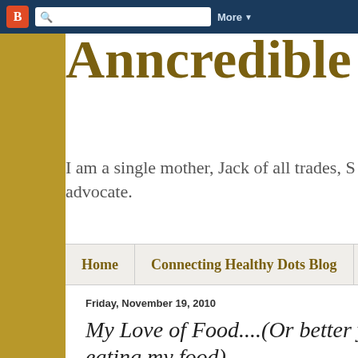Blogger navbar with search and More button
Anncredible
I am a single mother, Jack of all trades, S advocate.
Home | Connecting Healthy Dots Blog
Friday, November 19, 2010
My Love of Food....(Or better yet, my eating my food)